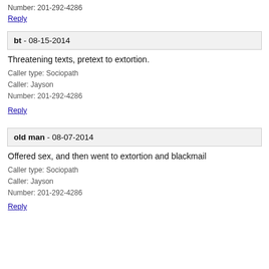Number: 201-292-4286
Reply
bt - 08-15-2014
Threatening texts, pretext to extortion.
Caller type: Sociopath
Caller: Jayson
Number: 201-292-4286
Reply
old man - 08-07-2014
Offered sex, and then went to extortion and blackmail
Caller type: Sociopath
Caller: Jayson
Number: 201-292-4286
Reply